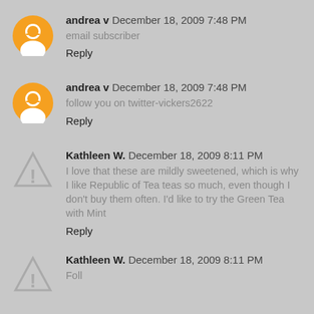andrea v  December 18, 2009 7:48 PM
email subscriber
Reply
andrea v  December 18, 2009 7:48 PM
follow you on twitter-vickers2622
Reply
Kathleen W.  December 18, 2009 8:11 PM
I love that these are mildly sweetened, which is why I like Republic of Tea teas so much, even though I don't buy them often. I'd like to try the Green Tea with Mint
Reply
Kathleen W.  December 18, 2009 8:11 PM
Foll...